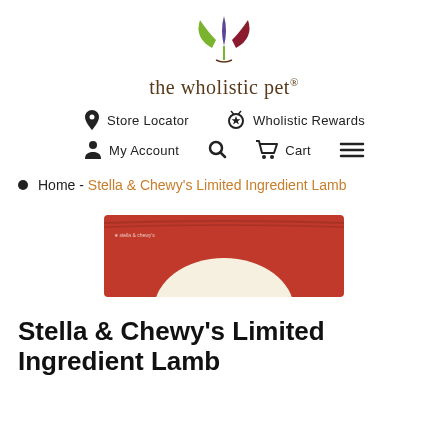[Figure (logo): The Wholistic Pet logo with colorful leaf/flame graphic above the text 'the wholistic pet' with registered trademark symbol]
Store Locator   Wholistic Rewards   My Account   Cart
Home - Stella & Chewy's Limited Ingredient Lamb
[Figure (photo): Partial view of a red product bag with a circular logo/label]
Stella & Chewy's Limited Ingredient Lamb